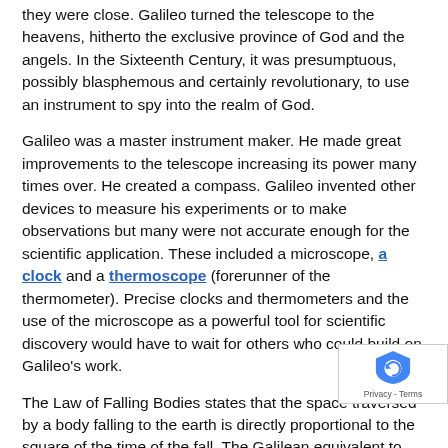they were close. Galileo turned the telescope to the heavens, hitherto the exclusive province of God and the angels. In the Sixteenth Century, it was presumptuous, possibly blasphemous and certainly revolutionary, to use an instrument to spy into the realm of God.
Galileo was a master instrument maker. He made great improvements to the telescope increasing its power many times over. He created a compass. Galileo invented other devices to measure his experiments or to make observations but many were not accurate enough for the scientific application. These included a microscope, a clock and a thermoscope (forerunner of the thermometer). Precise clocks and thermometers and the use of the microscope as a powerful tool for scientific discovery would have to wait for others who could build on Galileo's work.
The Law of Falling Bodies states that the space traversed by a body falling to the earth is directly proportional to the square of the time of the fall. The Galilean equivalent to this law states that in equal times the distances traversed by a falling body follow the progression 1, 3, 5, 7, .... See an animated demonstration of the law of falling bodies on an inclined plane. The reason we intuitively think that lighter objects fall more slowly than objects is two-fold. First, we have observed very light objects, such as feathers and snowflakes, falling slowly because of